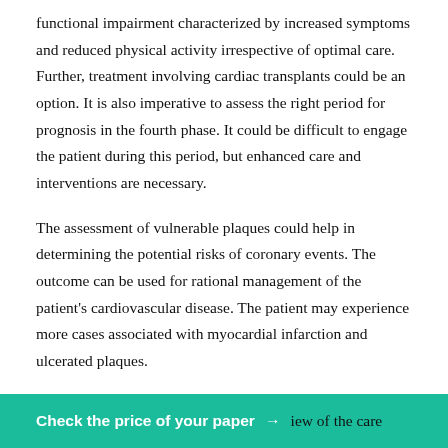functional impairment characterized by increased symptoms and reduced physical activity irrespective of optimal care. Further, treatment involving cardiac transplants could be an option. It is also imperative to assess the right period for prognosis in the fourth phase. It could be difficult to engage the patient during this period, but enhanced care and interventions are necessary.
The assessment of vulnerable plaques could help in determining the potential risks of coronary events. The outcome can be used for rational management of the patient's cardiovascular disease. The patient may experience more cases associated with myocardial infarction and ulcerated plaques.
Check the price of your paper → iew of the care